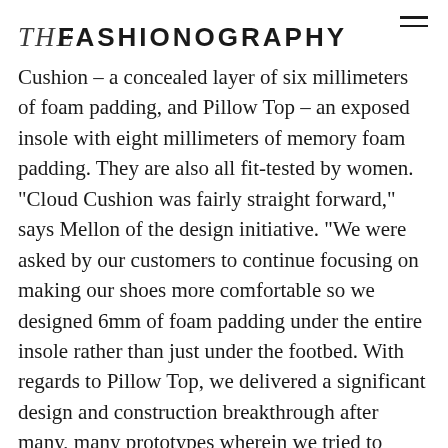THE FASHIONOGRAPHY
Cushion – a concealed layer of six millimeters of foam padding, and Pillow Top – an exposed insole with eight millimeters of memory foam padding. They are also all fit-tested by women. “Cloud Cushion was fairly straight forward,” says Mellon of the design initiative. “We were asked by our customers to continue focusing on making our shoes more comfortable so we designed 6mm of foam padding under the entire insole rather than just under the footbed. With regards to Pillow Top, we delivered a significant design and construction breakthrough after many, many prototypes wherein we tried to solve how to put a memory foam cushion on top of an insole, attach the heel and address the technical lasting issues of combining the cushion of a slipper